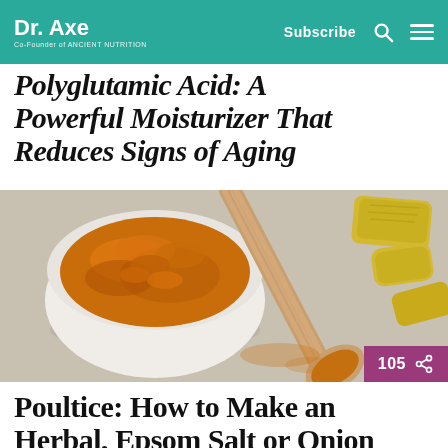Dr. Axe | Co-Founder of Ancient Nutrition | Subscribe
Polyglutamic Acid: A Powerful Moisturizer That Reduces Signs of Aging
[Figure (photo): Turmeric powder in a white bowl with a wooden spoon and sliced turmeric root on a light gray surface]
Poultice: How to Make an Herbal, Epsom Salt or Onion Type